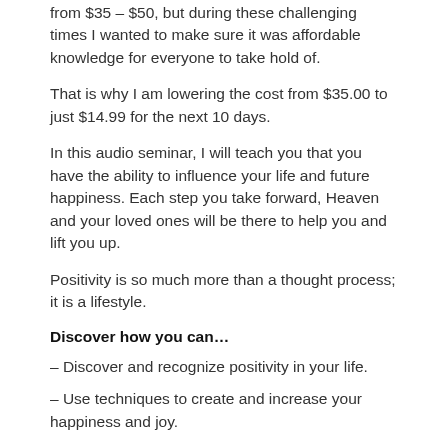from $35 – $50, but during these challenging times I wanted to make sure it was affordable knowledge for everyone to take hold of.
That is why I am lowering the cost from $35.00 to just $14.99 for the next 10 days.
In this audio seminar, I will teach you that you have the ability to influence your life and future happiness. Each step you take forward, Heaven and your loved ones will be there to help you and lift you up.
Positivity is so much more than a thought process; it is a lifestyle.
Discover how you can…
– Discover and recognize positivity in your life.
– Use techniques to create and increase your happiness and joy.